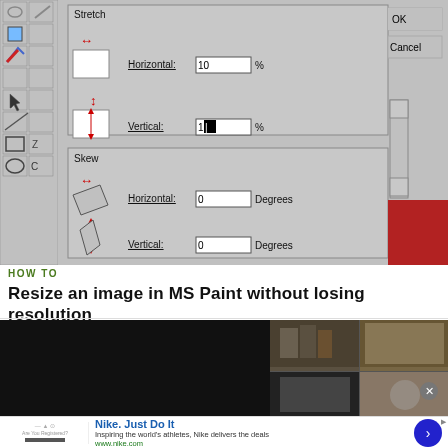[Figure (screenshot): MS Paint resize/skew dialog screenshot showing Stretch and Skew sections with Horizontal 10%, Vertical with cursor, and Skew Horizontal 0 Degrees, Vertical 0 Degrees. Left toolbar visible with tool icons. OK and Cancel buttons on right.]
HOW TO
Resize an image in MS Paint without losing resolution
[Figure (screenshot): Video thumbnail screenshot showing dark/black left side and a collage of video thumbnails on the right side including what appears to be a bookshelf and a person.]
Nike. Just Do It
Inspiring the world's athletes, Nike delivers the deals
www.nike.com